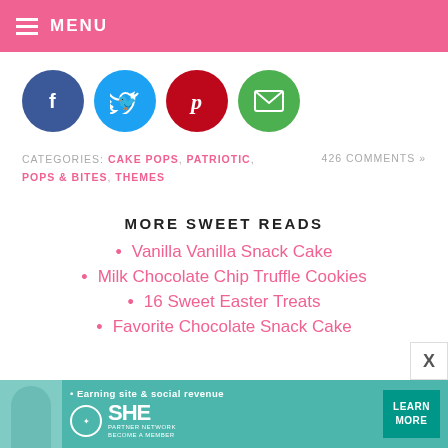MENU
[Figure (illustration): Row of four social media icon circles: Facebook (dark blue), Twitter (light blue), Pinterest (red), Email (green)]
CATEGORIES: CAKE POPS, PATRIOTIC, POPS & BITES, THEMES   426 COMMENTS »
MORE SWEET READS
Vanilla Vanilla Snack Cake
Milk Chocolate Chip Truffle Cookies
16 Sweet Easter Treats
Favorite Chocolate Snack Cake
[Figure (infographic): SHE Partner Network advertisement banner - Earning site & social revenue, Learn More button]